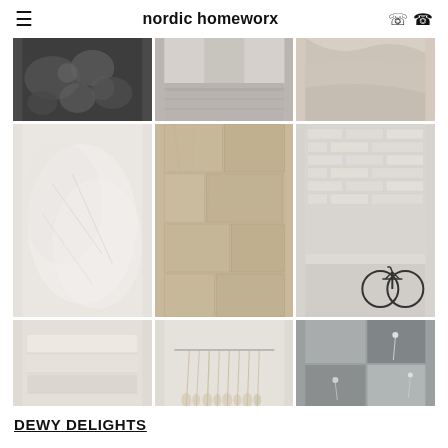nordic homeworx
[Figure (photo): 3x3 grid of Nordic/Scandinavian home interior and lifestyle photos: row 1: dark botanical close-up, interior room floor view, light beige linen draped; row 2: close-up white sheer fabric/lace, light wood flooring texture, whitewashed brick wall with bicycle and wicker basket; row 3: stacked white/beige linen fabric folds, hanging dried pampas grass/reeds, gray fabric swatches with pins]
DEWY DELIGHTS